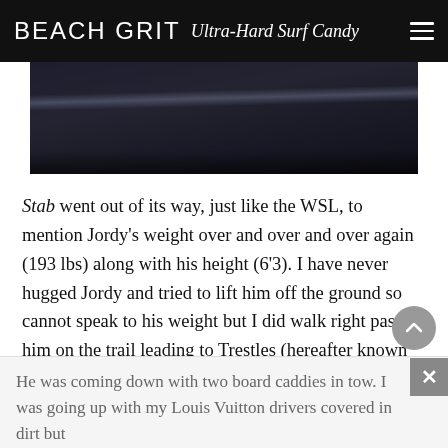BEACH GRIT Ultra-Hard Surf Candy
[Figure (photo): Dark moody photo, partially visible, appears to show a surfboard or person in low light]
Stab went out of its way, just like the WSL, to mention Jordy's weight over and over and over again (193 lbs) along with his height (6'3). I have never hugged Jordy and tried to lift him off the ground so cannot speak to his weight but I did walk right past him on the trail leading to Trestles (hereafter known as Ho Chi Minh in honor of the people) and have questions about his height.
He was coming down with two board caddies in tow. I was going up with my Louis Vuitton drivers covered in dirt but